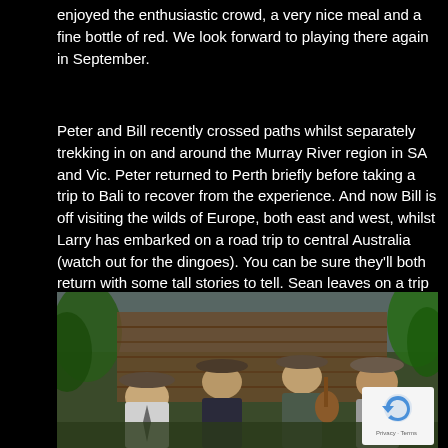enjoyed the enthusiastic crowd, a very nice meal and a fine bottle of red. We look forward to playing there again in September.
Peter and Bill recently crossed paths whilst separately trekking in on and around the Murray River region in SA and Vic. Peter returned to Perth briefly before taking a trip to Bali to recover from the experience. And now Bill is off visiting the wilds of Europe, both east and west, whilst Larry has embarked on a road trip to central Australia (watch out for the dingoes). You can be sure they'll both return with some tall stories to tell. Sean leaves on a trip to explore the ruins of post soccer World Cup Russia in September. Thank god we have Nick holding the fort.
[Figure (photo): Four men wearing hats and casual/folk-style clothing performing music outdoors, with a rustic wooden backdrop and green foliage. A reCAPTCHA privacy badge is visible in the bottom right corner.]